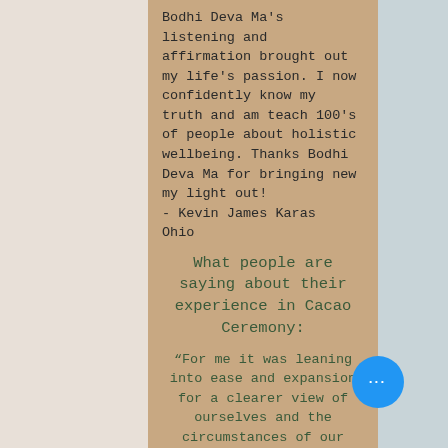Bodhi Deva Ma's listening and affirmation brought out my life's passion. I now confidently know my truth and am teach 100's of people about holistic wellbeing. Thanks Bodhi Deva Ma for bringing new my light out!
- Kevin James Karas
Ohio
What people are saying about their experience in Cacao Ceremony:
“For me it was leaning into ease and expansion for a clearer view of ourselves and the circumstances of our life
“It helped us with transitioning